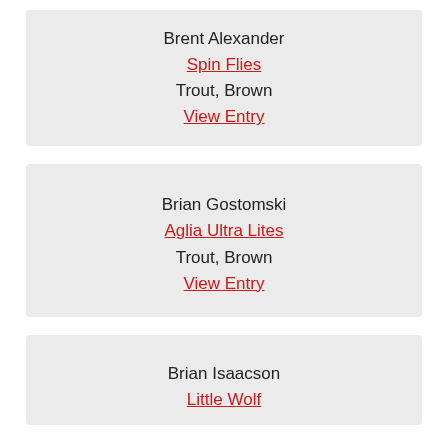Brent Alexander
Spin Flies
Trout, Brown
View Entry
Brian Gostomski
Aglia Ultra Lites
Trout, Brown
View Entry
Brian Isaacson
Little Wolf